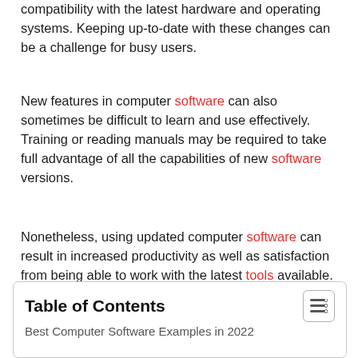compatibility with the latest hardware and operating systems. Keeping up-to-date with these changes can be a challenge for busy users.
New features in computer software can also sometimes be difficult to learn and use effectively. Training or reading manuals may be required to take full advantage of all the capabilities of new software versions.
Nonetheless, using updated computer software can result in increased productivity as well as satisfaction from being able to work with the latest tools available.
Table of Contents
Best Computer Software Examples in 2022